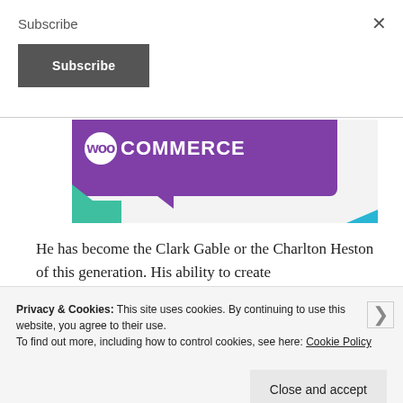Subscribe
Subscribe
[Figure (logo): WooCommerce logo on purple background with green and blue decorative triangles]
He has become the Clark Gable or the Charlton Heston of this generation. His ability to create
Privacy & Cookies: This site uses cookies. By continuing to use this website, you agree to their use.
To find out more, including how to control cookies, see here: Cookie Policy
Close and accept